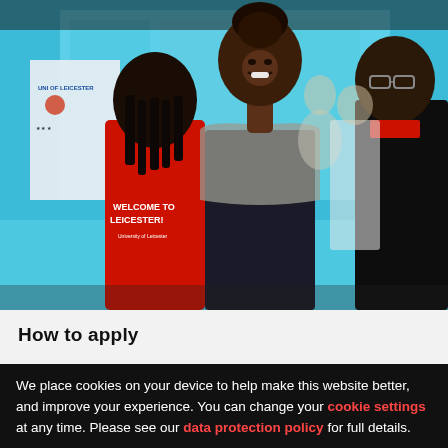[Figure (photo): Outdoor university event scene with students. A person wearing a red 'Welcome to Leicester!' t-shirt stands with their back to the camera on the left. In the center, a smiling young woman wearing a dark patterned top and grey jacket faces the camera. To the right, partly visible, is another person in a dark jacket. Background shows a cyan/teal-colored building and other students at what appears to be a university open day or freshers event.]
How to apply
We place cookies on your device to help make this website better, and improve your experience. You can change your cookie settings at any time. Please see our data protection policy for full details.
✕  Don't show this message again